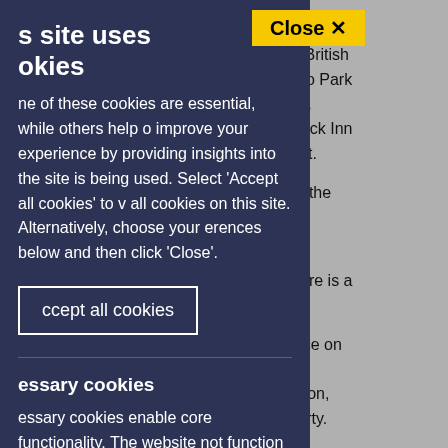[Figure (screenshot): Cookie consent overlay on a website. Left side shows a dark navy cookie notice panel with title 's site uses cookies', body text about cookie preferences, an 'Accept all cookies' button, a divider, and a 'Necessary cookies' section. Right side shows partially visible background webpage text about Droitwich events. A yellow 'Close X' button appears at top center.]
s site uses cookies
ne of these cookies are essential, while others help o improve your experience by providing insights into the site is being used. Select 'Accept all cookies' to v all cookies on this site. Alternatively, choose your erences below and then click 'Close'.
Accept all cookies
essary cookies
essary cookies enable core functionality. The website not function properly without these cookies, and can be disabled by changing your browser preferences.